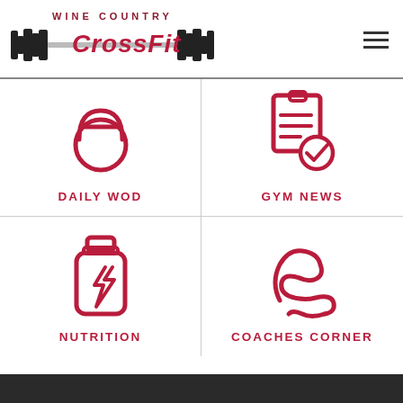[Figure (logo): Wine Country CrossFit logo with barbell graphic and bold red CrossFit text]
[Figure (infographic): Four-cell navigation grid with icons and labels: Daily WOD (kettlebell icon), Gym News (clipboard with checkmark icon), Nutrition (supplement bottle with lightning bolt icon), Coaches Corner (flexing arm muscle icon)]
[Figure (photo): Dark bottom bar / partial gym photo strip at bottom of page]